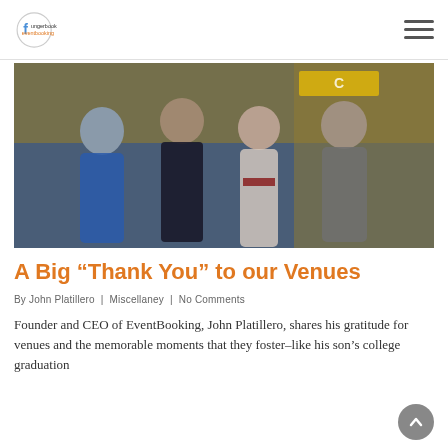fungerbook eventbooking [logo] [hamburger menu]
[Figure (photo): Group photo of four people at what appears to be a graduation ceremony. A woman in blue on the left, a young man in graduation attire (dark gown with medallion), a woman in a strapless floral dress with a red belt, and a man in a gray polo shirt on the right. Yellow banners visible in background.]
A Big “Thank You” to our Venues
By John Platillero | Miscellaney | No Comments
Founder and CEO of EventBooking, John Platillero, shares his gratitude for venues and the memorable moments that they foster–like his son’s college graduation